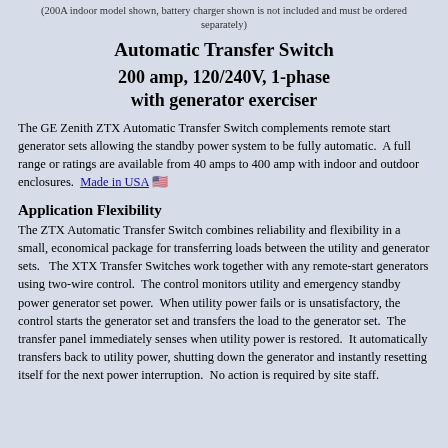(200A indoor model shown, battery charger shown is not included and must be ordered separately)
Automatic Transfer Switch
200 amp, 120/240V, 1-phase with generator exerciser
The GE Zenith ZTX Automatic Transfer Switch complements remote start generator sets allowing the standby power system to be fully automatic.  A full range or ratings are available from 40 amps to 400 amp with indoor and outdoor enclosures.  Made in USA 🇺🇸
Application Flexibility
The ZTX Automatic Transfer Switch combines reliability and flexibility in a small, economical package for transferring loads between the utility and generator sets.   The XTX Transfer Switches work together with any remote-start generators using two-wire control.  The control monitors utility and emergency standby power generator set power.  When utility power fails or is unsatisfactory, the control starts the generator set and transfers the load to the generator set.  The transfer panel immediately senses when utility power is restored.  It automatically transfers back to utility power, shutting down the generator and instantly resetting itself for the next power interruption.  No action is required by site staff.